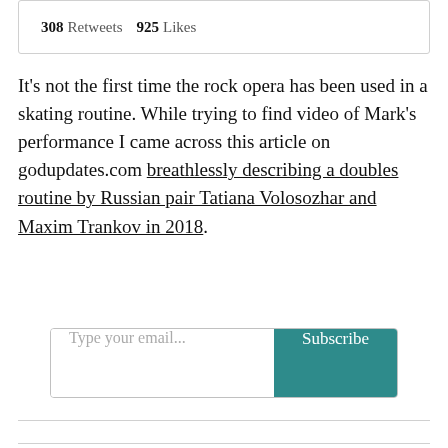308 Retweets  925 Likes
It's not the first time the rock opera has been used in a skating routine. While trying to find video of Mark's performance I came across this article on godupdates.com breathlessly describing a doubles routine by Russian pair Tatiana Volosozhar and Maxim Trankov in 2018.
[Figure (screenshot): Email subscription input box with placeholder 'Type your email...' and a teal Subscribe button]